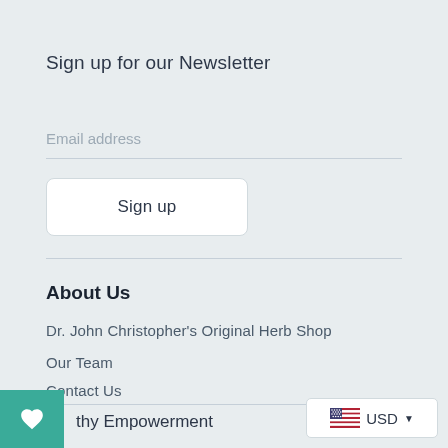Sign up for our Newsletter
Email address
Sign up
About Us
Dr. John Christopher's Original Herb Shop
Our Team
Contact Us
thy Empowerment
USD